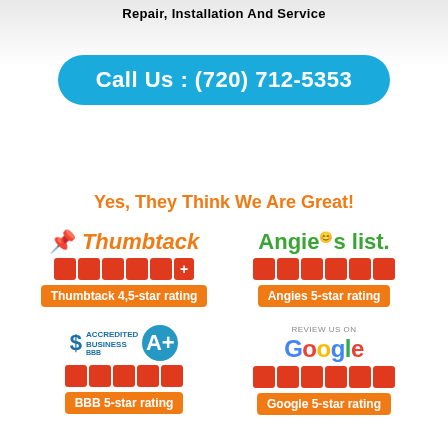Repair, Installation And Service
Call Us : (720) 712-5353
Yes, They Think We Are Great!
[Figure (logo): Thumbtack logo with 4.5-star rating badge]
[Figure (logo): Angies list logo with 5-star rating badge]
[Figure (logo): BBB Accredited Business A+ logo with 5-star rating badge]
[Figure (logo): Google Review Us On logo with 5-star rating badge]